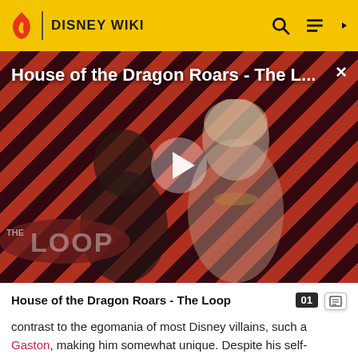DISNEY WIKI
[Figure (screenshot): Video thumbnail for 'House of the Dragon Roars - The Loop' with diagonal red and dark stripe background, two characters (armored knight and pale woman with blonde hair), a white play button triangle in the center, and 'THE LOOP' logo in bottom left. Close button (×) in top right corner.]
House of the Dragon Roars - The Loop
contrast to the egomania of most Disney villains, such as Gaston, making him somewhat unique. Despite his self-confessed lack of popularity, Ratcliffe seems quite